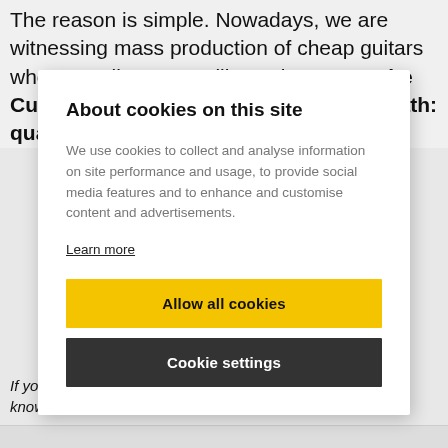The reason is simple. Nowadays, we are witnessing mass production of cheap guitars whose quality wavers like a sine wave. The Custom Shop has taken the opposite path: quality and
About cookies on this site
We use cookies to collect and analyse information on site performance and usage, to provide social media features and to enhance and customise content and advertisements.
Learn more
Allow all cookies
Cookie settings
If you have found an error or typo in the article, please let us know by e-mail info@insounder.org.